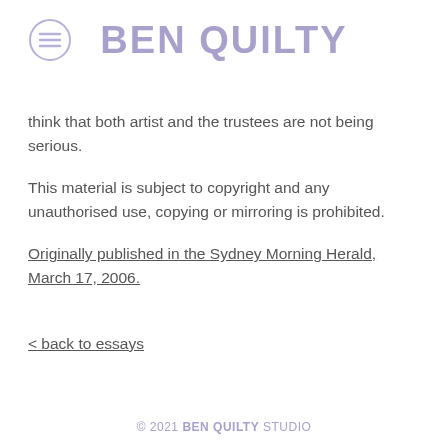BEN QUILTY
think that both artist and the trustees are not being serious.
This material is subject to copyright and any unauthorised use, copying or mirroring is prohibited.
Originally published in the Sydney Morning Herald, March 17, 2006.
< back to essays
© 2021 BEN QUILTY STUDIO